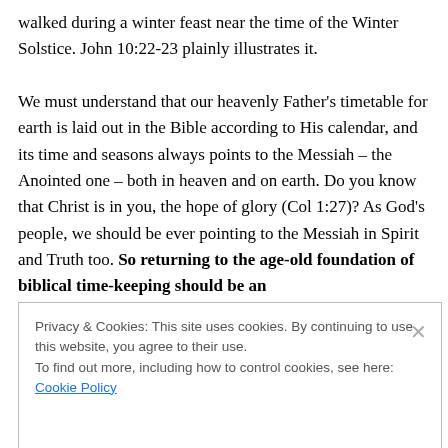walked during a winter feast near the time of the Winter Solstice. John 10:22-23 plainly illustrates it.

We must understand that our heavenly Father's timetable for earth is laid out in the Bible according to His calendar, and its time and seasons always points to the Messiah – the Anointed one – both in heaven and on earth. Do you know that Christ is in you, the hope of glory (Col 1:27)? As God's people, we should be ever pointing to the Messiah in Spirit and Truth too. So returning to the age-old foundation of biblical time-keeping should be an
Privacy & Cookies: This site uses cookies. By continuing to use this website, you agree to their use.
To find out more, including how to control cookies, see here: Cookie Policy